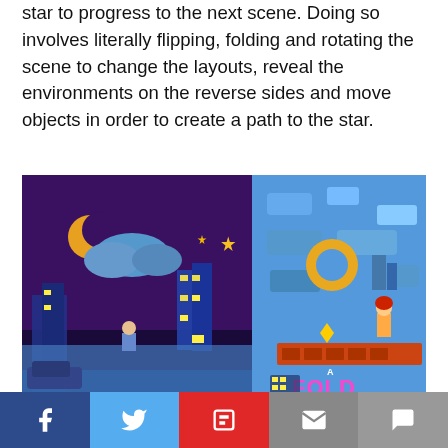star to progress to the next scene. Doing so involves literally flipping, folding and rotating the scene to change the layouts, reveal the environments on the reverse sides and move objects in order to create a path to the star.
[Figure (screenshot): Screenshot of 'A Fold Apart' game showing two side-by-side scenes: left panel is a nighttime cityscape with purple sky, crescent moon, yellow stars, blue platform buildings and a character; right panel shows a brighter blue puzzle platformer scene with a red-haired character, circular moon-like object, orange/red platform, and 'A FOLD APART' logo text in pink/magenta.]
Social share bar with Facebook, Twitter, Flipboard, Email, and Comment buttons